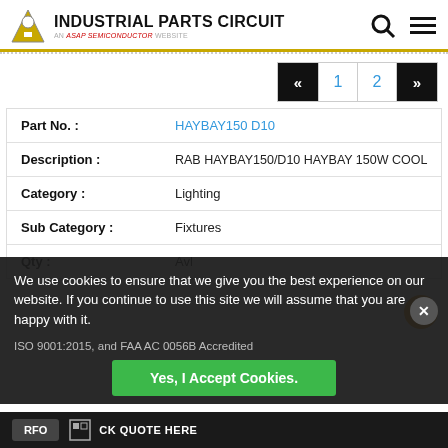INDUSTRIAL PARTS CIRCUIT - An ASAP Semiconductor Website
| Field | Value |
| --- | --- |
| Part No. : | HAYBAY150 D10 |
| Description : | RAB HAYBAY150/D10 HAYBAY 150W COOL |
| Category : | Lighting |
| Sub Category : | Fixtures |
| Qty : | Avl |
We use cookies to ensure that we give you the best experience on our website. If you continue to use this site we will assume that you are happy with it.
ISO 9001:2015, and FAA AC 0056B Accredited
Yes, I Accept Cookies.
CK QUOTE HERE